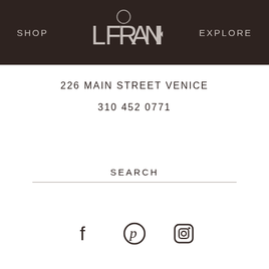SHOP  LFRANK  EXPLORE
226 MAIN STREET VENICE
310 452 0771
SEARCH
[Figure (other): Social media icons: Facebook, Pinterest, Instagram]